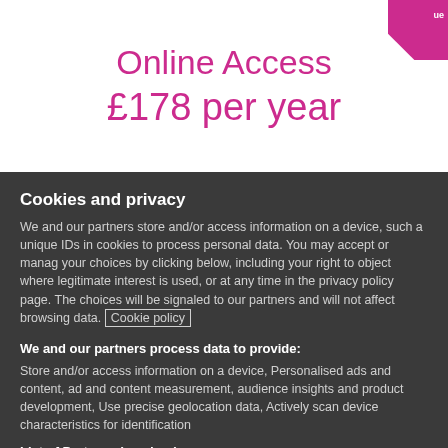Online Access
£178 per year
Cookies and privacy
We and our partners store and/or access information on a device, such as unique IDs in cookies to process personal data. You may accept or manage your choices by clicking below, including your right to object where legitimate interest is used, or at any time in the privacy policy page. These choices will be signaled to our partners and will not affect browsing data. Cookie policy
We and our partners process data to provide:
Store and/or access information on a device, Personalised ads and content, ad and content measurement, audience insights and product development, Use precise geolocation data, Actively scan device characteristics for identification
List of Partners (vendors)
I Accept